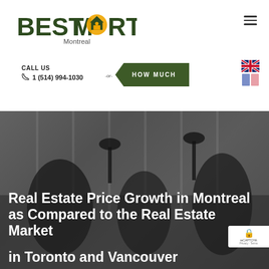[Figure (logo): Best Mortgage Montreal logo with house/key icon replacing the O in MORTGAGE]
CALL US
1 (514) 994-1030
HOW MUCH
[Figure (illustration): UK flag and French flag language selector icons]
[Figure (photo): Dark office background with chairs and desk lamps, used as hero image background]
Real Estate Price Growth in Montreal as Compared to the Real Estate Markets in Toronto and Vancouver